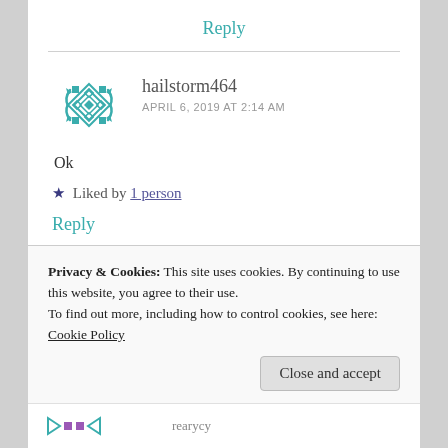Reply
[Figure (illustration): Teal geometric avatar icon for user hailstorm464]
hailstorm464
APRIL 6, 2019 AT 2:14 AM
Ok
★ Liked by 1 person
Reply
Privacy & Cookies: This site uses cookies. By continuing to use this website, you agree to their use.
To find out more, including how to control cookies, see here: Cookie Policy
Close and accept
rearycy